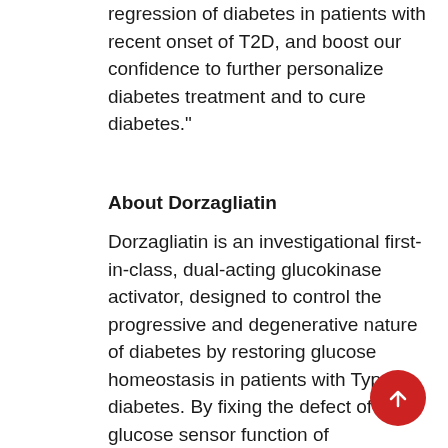regression of diabetes in patients with recent onset of T2D, and boost our confidence to further personalize diabetes treatment and to cure diabetes."
About Dorzagliatin
Dorzagliatin is an investigational first-in-class, dual-acting glucokinase activator, designed to control the progressive and degenerative nature of diabetes by restoring glucose homeostasis in patients with Type 2 diabetes. By fixing the defect of the glucose sensor function of glucokinase, dorzagliatin has the potential to restore the impaired insulin and GLP-1 secretion of patients with Type 2 diabetes and serve as a cornerstone therapy targeting the root cause of the disease. Two-Phase III registered trials for dorzagliatin